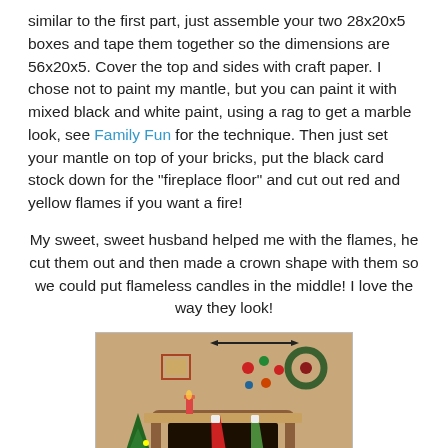similar to the first part, just assemble your two 28x20x5 boxes and tape them together so the dimensions are 56x20x5. Cover the top and sides with craft paper. I chose not to paint my mantle, but you can paint it with mixed black and white paint, using a rag to get a marble look, see Family Fun for the technique. Then just set your mantle on top of your bricks, put the black card stock down for the "fireplace floor" and cut out red and yellow flames if you want a fire!
My sweet, sweet husband helped me with the flames, he cut them out and then made a crown shape with them so we could put flameless candles in the middle! I love the way they look!
[Figure (photo): A Christmas living room scene showing a decorated fireplace mantle with stockings hanging, a Christmas tree on the left, wreath on the wall, ornaments hanging, candles on the mantle, and a fire in the fireplace.]